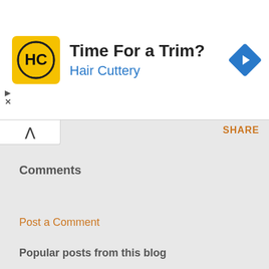[Figure (other): Hair Cuttery advertisement banner with yellow logo showing 'HC', headline 'Time For a Trim?', subtext 'Hair Cuttery', and a blue diamond-shaped arrow icon on right]
SHARE
Comments
Post a Comment
Popular posts from this blog